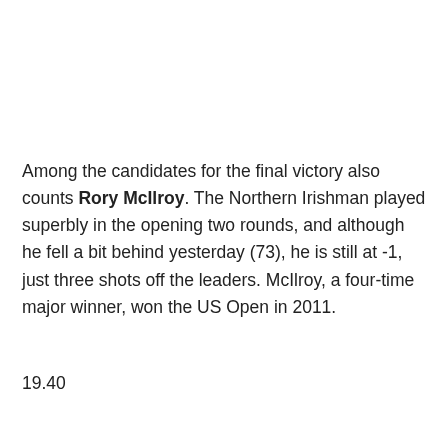Among the candidates for the final victory also counts Rory McIlroy. The Northern Irishman played superbly in the opening two rounds, and although he fell a bit behind yesterday (73), he is still at -1, just three shots off the leaders. McIlroy, a four-time major winner, won the US Open in 2011.
19.40